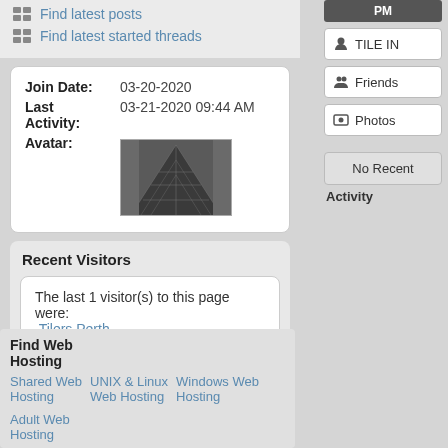Find latest posts
Find latest started threads
| Field | Value |
| --- | --- |
| Join Date: | 03-20-2020 |
| Last Activity: | 03-21-2020 09:44 AM |
| Avatar: | [image] |
Recent Visitors
The last 1 visitor(s) to this page were:
Tilers Perth
This page has had 2,593 visits
TILE IN
Friends
Photos
No Recent
Activity
Find Web Hosting
Shared Web Hosting
UNIX & Linux Web Hosting
Windows Web Hosting
Adult Web Hosting